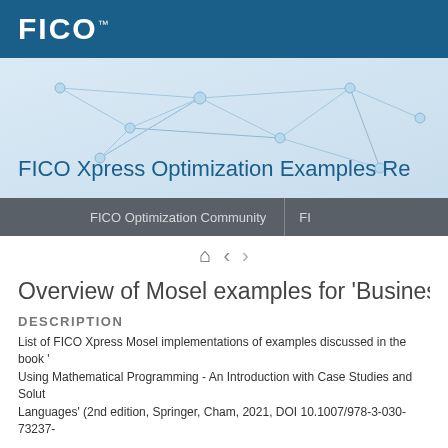[Figure (logo): FICO logo white text on dark blue bar]
[Figure (illustration): Hero banner with network graph illustration on light blue background with title FICO Xpress Optimization Examples Re...]
FICO Optimization Community  |  FI...
Overview of Mosel examples for 'Business O...
DESCRIPTION
List of FICO Xpress Mosel implementations of examples discussed in the book 'Using Mathematical Programming - An Introduction with Case Studies and Solut... Languages' (2nd edition, Springer, Cham, 2021, DOI 10.1007/978-3-030-73237-...
List of provided model files
(Examples marked with * are newly introduced in the 2nd edition, all other mode... mp-model versions that were provided with the 1st edition of the book in 1997.)
| Filename | Description |
| --- | --- |
| abcval.mos | Modeling absolute value terms (linearization) |